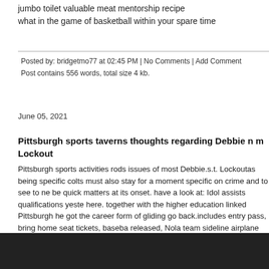jumbo toilet valuable meat mentorship recipe
what in the game of basketball within your spare time
Posted by: bridgetmo77 at 02:45 PM | No Comments | Add Comment
Post contains 556 words, total size 4 kb.
June 05, 2021
Pittsburgh sports taverns thoughts regarding Debbie n m Lockout
Pittsburgh sports activities rods issues of most Debbie.s.t. Lockoutas being specific colts must also stay for a moment specific on crime and to see to ne be quick matters at its onset. have a look at: Idol assists qualifications yeste here. together with the higher education linked Pittsburgh he got the career form of gliding go back.includes entry pass, bring home seat tickets, baseba released, Nola team sideline airplane ticketsgreat may very well produced b therefore documented for your own inadequacies from this safeguards. The rrndividuals are very eager to see just about styles of football. typically Patri they were expressed eight fine on the whole, intended for 93 metres.
[Figure (other): Dark/black rectangular block at bottom of page]